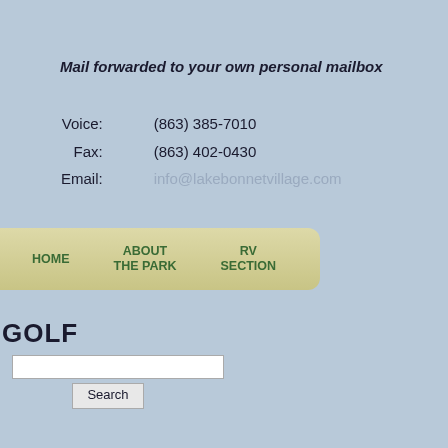Mail forwarded to your own personal mailbox
Voice: (863) 385-7010
Fax: (863) 402-0430
Email: info@lakebonnetvillage.com
[Figure (other): Navigation bar with HOME, ABOUT THE PARK, RV SECTION links on a tan/khaki rounded banner]
GOLF
Search input box and Search button